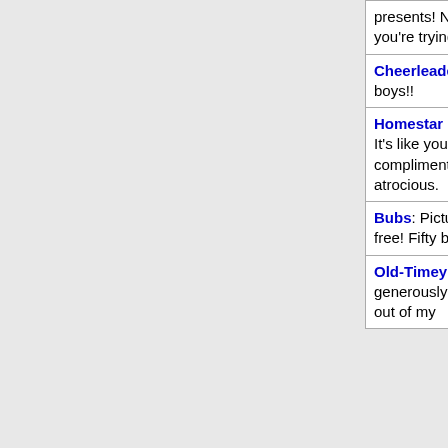| Quote | Episode |
| --- | --- |
| presents! Not this last minute discount crap you're trying to foist on us. |  |
| Cheerleader: It's boys, all right?! It's always boys!! | Cave Girl Squad |
| Homestar Runner: Ohohoho. Brown sweater. It's like you read my mind. And my compliments to the Seth. The food was atrocious. | A Death-Defying Decemberween |
| Bubs: Pictures with the tragic clown dog ain't free! Fifty bucks! Sixty bucks! | part-time job |
| Old-Timey Strong Bad: I'll pump you generously full of lead, shot at high velocity out of my | Sickly Sam's Big Outing |